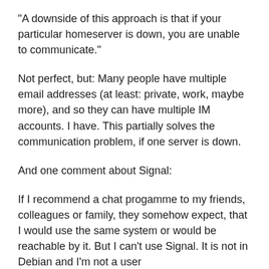“A downside of this approach is that if your particular homeserver is down, you are unable to communicate.”
Not perfect, but: Many people have multiple email addresses (at least: private, work, maybe more), and so they can have multiple IM accounts. I have. This partially solves the communication problem, if one server is down.
And one comment about Signal:
If I recommend a chat progamme to my friends, colleagues or family, they somehow expect, that I would use the same system or would be reachable by it. But I can’t use Signal. It is not in Debian and I’m not a user